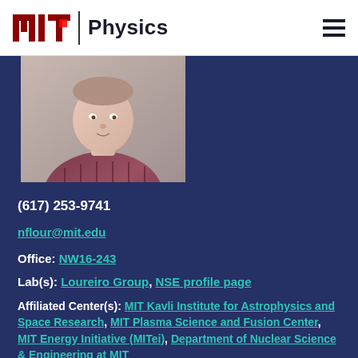MIT Physics
[Figure (photo): Headshot photo of a person wearing a plaid/checkered shirt, cropped to show head and upper torso against a light background]
(617) 253-9741
nflour@mit.edu
Office: NW16-243
Lab(s): Loureiro Group, NSE profile page
Affiliated Center(s): MIT Kavli Institute for Astrophysics and Space Research, MIT Plasma Science and Fusion Center, MIT Energy Initiative (MITei), Department of Nuclear Science & Engineering at MIT